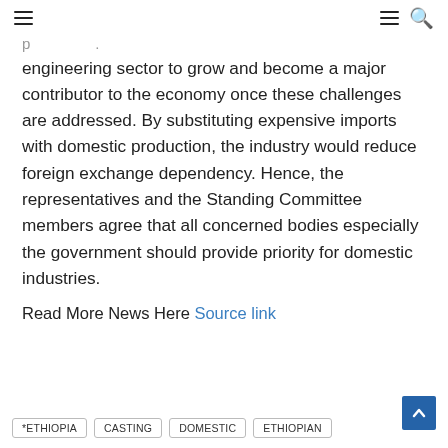≡ ≡ 🔍
engineering sector to grow and become a major contributor to the economy once these challenges are addressed. By substituting expensive imports with domestic production, the industry would reduce foreign exchange dependency. Hence, the representatives and the Standing Committee members agree that all concerned bodies especially the government should provide priority for domestic industries.
Read More News Here Source link
*ETHIOPIA   CASTING   DOMESTIC   ETHIOPIAN